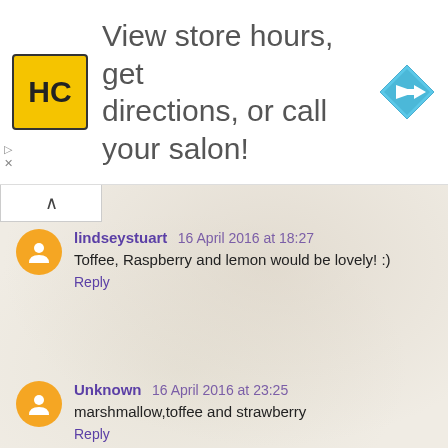[Figure (other): Advertisement banner: HC logo (yellow square with HC text), text 'View store hours, get directions, or call your salon!', and a blue diamond navigation icon on the right]
lindseystuart 16 April 2016 at 18:27
Toffee, Raspberry and lemon would be lovely! :)
Reply
Unknown 16 April 2016 at 23:25
marshmallow,toffee and strawberry
Reply
Unknown 17 April 2016 at 14:25
walnut banana and chocchip
Reply